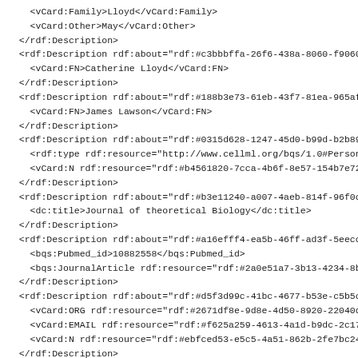XML/RDF code snippet showing vCard and Dublin Core metadata descriptions with UUIDs and references to CellML ontology resources